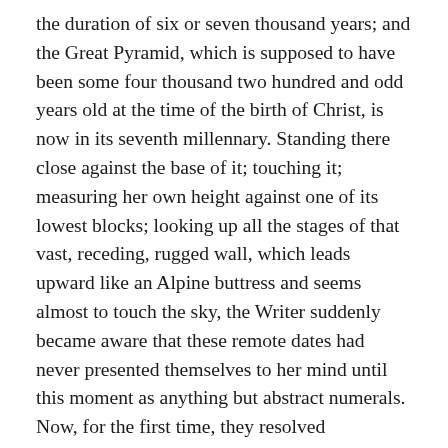the duration of six or seven thousand years; and the Great Pyramid, which is supposed to have been some four thousand two hundred and odd years old at the time of the birth of Christ, is now in its seventh millennary. Standing there close against the base of it; touching it; measuring her own height against one of its lowest blocks; looking up all the stages of that vast, receding, rugged wall, which leads upward like an Alpine buttress and seems almost to touch the sky, the Writer suddenly became aware that these remote dates had never presented themselves to her mind until this moment as anything but abstract numerals. Now, for the first time, they resolved themselves into something concrete, definite, real. They were no longer figures, but years with their change of season, their high and low Niles, their seed-times and harvests. The consciousness of that moment will never, perhaps, quite wear away. It was as if one had been snatched